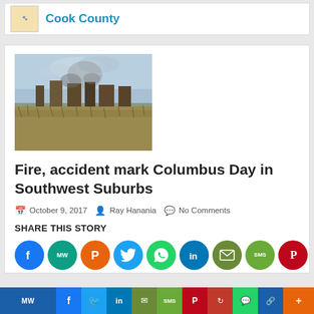Cook County
[Figure (photo): Smoke rising from a fire scene in a suburban area with dry grass and trees, buildings visible in the background]
Fire, accident mark Columbus Day in Southwest Suburbs
October 9, 2017 · Ray Hanania · No Comments
SHARE THIS STORY
[Figure (infographic): Row of social media sharing icons: Facebook, MeWe, Parler, Twitter, WhatsApp, LinkedIn, Email, SMS, Pinterest]